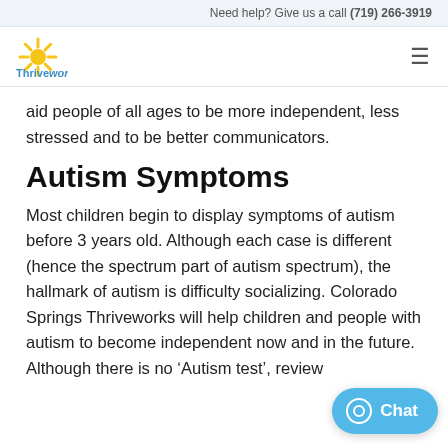Need help? Give us a call (719) 266-3919
[Figure (logo): Thriveworks logo with sunburst icon and company name in blue]
aid people of all ages to be more independent, less stressed and to be better communicators.
Autism Symptoms
Most children begin to display symptoms of autism before 3 years old. Although each case is different (hence the spectrum part of autism spectrum), the hallmark of autism is difficulty socializing. Colorado Springs Thriveworks will help children and people with autism to become independent now and in the future. Although there is no ‘Autism test’, review